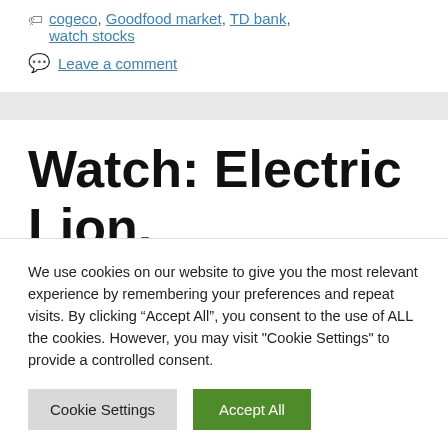cogeco, Goodfood market, TD bank, watch stocks
Leave a comment
Watch: Electric Lion, dentalcorp and
We use cookies on our website to give you the most relevant experience by remembering your preferences and repeat visits. By clicking “Accept All”, you consent to the use of ALL the cookies. However, you may visit "Cookie Settings" to provide a controlled consent.